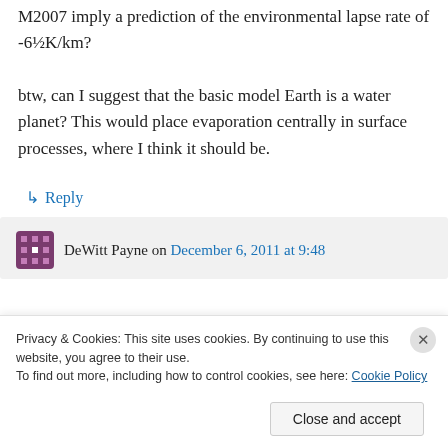M2007 imply a prediction of the environmental lapse rate of -6½K/km? btw, can I suggest that the basic model Earth is a water planet? This would place evaporation centrally in surface processes, where I think it should be.
↳ Reply
DeWitt Payne on December 6, 2011 at 9:48
Privacy & Cookies: This site uses cookies. By continuing to use this website, you agree to their use.
To find out more, including how to control cookies, see here: Cookie Policy
Close and accept